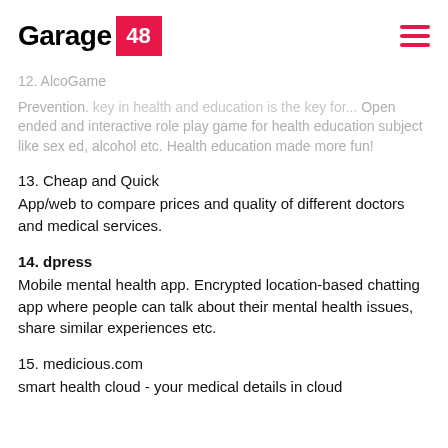Garage 48
12. AlcoGame
Prevention. key in health and education is the key for... Open ended and interactive role play game for health education subject like sex ed, alcohol etc. Health education made more fun!
13. Cheap and Quick
App/web to compare prices and quality of different doctors and medical services.
14. dpress
Mobile mental health app. Encrypted location-based chatting app where people can talk about their mental health issues, share similar experiences etc.
15. medicious.com
smart health cloud - your medical details in cloud